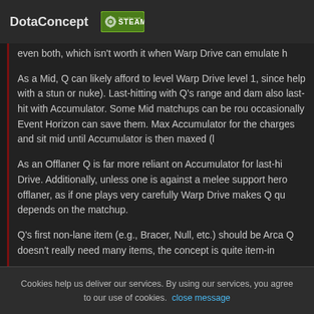DotaConcept
even both, which isn't worth it when Warp Drive can emulate h
As a Mid, Q can likely afford to level Warp Drive level 1, since help with a stun or nuke). Last-hitting with Q's range and dam also last-hit with Accumulator. Some Mid matchups can be rou occasionally Event Horizon can save them. Max Accumulator for the charges and sit mid until Accumulator is then maxed (l
As an Offlaner Q is far more reliant on Accumulator for last-hi Drive. Additionally, unless one is against a melee support hero offlaner, as if one plays very carefully Warp Drive makes Q qu depends on the matchup.
Q's first non-lane item (e.g., Bracer, Null, etc.) should be Arca Q doesn't really need many items, the concept is quite item-in
Cookies help us deliver our services. By using our services, you agree to our use of cookies. close message